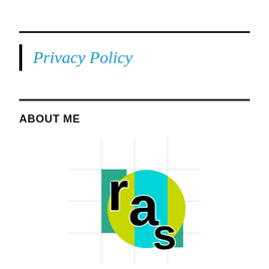Privacy Policy
ABOUT ME
[Figure (logo): RAS logo: geometric design with teal/green rectangle, yellow-green circle, cyan and yellow-green quadrant fills, and stylized letters r, a, s in black with white outline, overlapping shapes on a grid background]